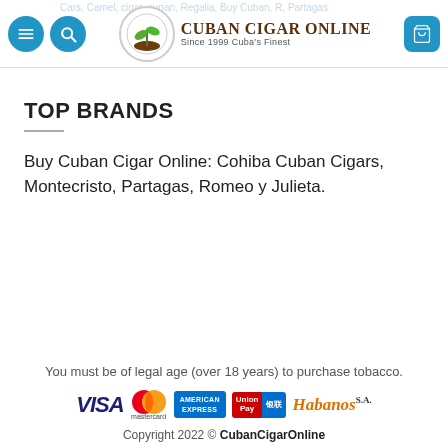Cuban Cigar Online — Since 1999 Cuba's Finest
TOP BRANDS
Buy Cuban Cigar Online: Cohiba Cuban Cigars, Montecristo, Partagas, Romeo y Julieta.
You must be of legal age (over 18 years) to purchase tobacco. Copyright 2022 © CubanCigarOnline